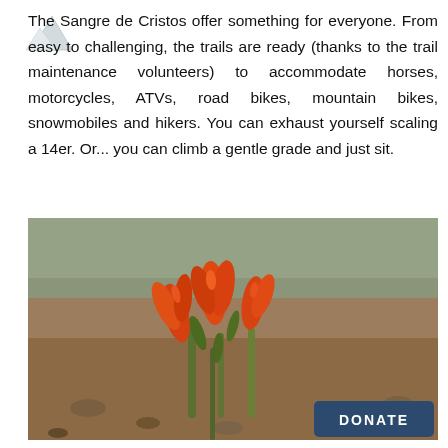The Sangre de Cristos offer something for everyone. From easy to challenging, the trails are ready (thanks to the trail maintenance volunteers) to accommodate horses, motorcycles, ATVs, road bikes, mountain bikes, snowmobiles and hikers. You can exhaust yourself scaling a 14er. Or... you can climb a gentle grade and just sit.
[Figure (photo): Close-up photo of orange Indian Paintbrush wildflowers blooming among rocky mountain terrain with scrubby vegetation in the background. A dark teal 'DONATE' button overlay appears in the bottom right corner.]